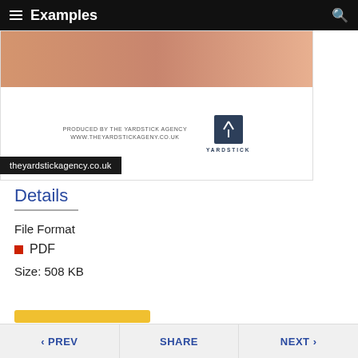Examples
[Figure (screenshot): Document preview showing a Yardstick Agency produced document with a wooden/orange background at the top and the Yardstick logo and website URL below]
theyardstickagency.co.uk
Details
File Format
PDF
Size: 508 KB
< PREV   SHARE   NEXT >